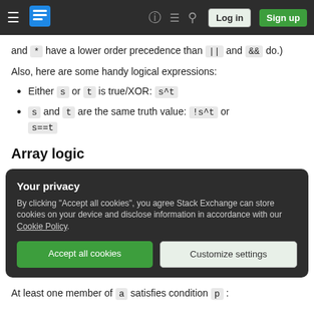Stack Exchange navigation bar with hamburger menu, logo, help, chat, search icons, Log in and Sign up buttons
and * have a lower order precedence than || and && do.)
Also, here are some handy logical expressions:
Either s or t is true/XOR: s^t
s and t are the same truth value: !s^t or s==t
Array logic
[Figure (screenshot): Cookie consent privacy banner with dark background reading 'Your privacy', explaining cookie usage, with 'Accept all cookies' (green) and 'Customize settings' (light) buttons]
At least one member of a satisfies condition p :